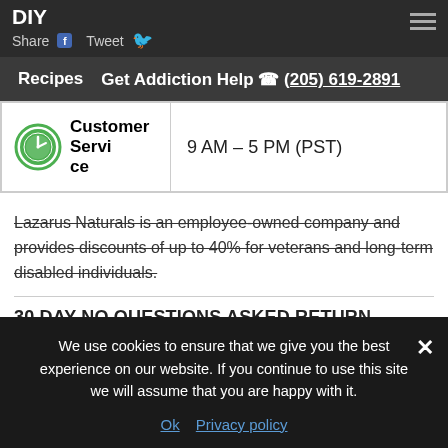DIY
Share  Tweet
Get Addiction Help (205) 619-2891
|  |  |
| --- | --- |
| Customer Service | 9 AM – 5 PM (PST) |
Lazarus Naturals is an employee-owned company and provides discounts of up to 40% for veterans and long-term disabled individuals.
30 DAY NO QUESTIONS ASKED RETURN POLICY
We use cookies to ensure that we give you the best experience on our website. If you continue to use this site we will assume that you are happy with it.
Ok  Privacy policy